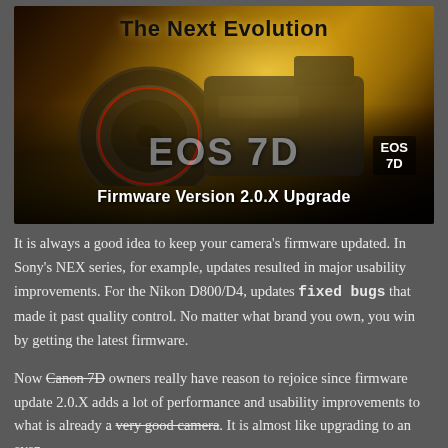[Figure (photo): Canon EOS 7D DSLR camera promotional image with golden light rays in background. Text overlay reads 'The Next Evolution', 'EOS 7D', and 'Firmware Version 2.0.X Upgrade'. Small EOS 7D badge in bottom-right corner of image.]
It is always a good idea to keep your camera's firmware updated. In Sony's NEX series, for example, updates resulted in major usability improvements. For the Nikon D800/D4, updates fixed bugs that made it past quality control. No matter what brand you own, you win by getting the latest firmware.
Now Canon 7D owners really have reason to rejoice since firmware update 2.0.X adds a lot of performance and usability improvements to what is already a very good camera. It is almost like upgrading to an even